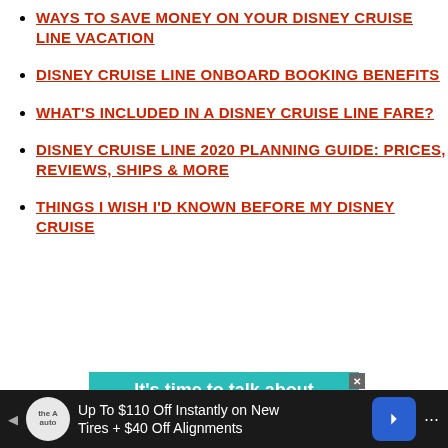WAYS TO SAVE MONEY ON YOUR DISNEY CRUISE LINE VACATION
DISNEY CRUISE LINE ONBOARD BOOKING BENEFITS
WHAT'S INCLUDED IN A DISNEY CRUISE LINE FARE?
DISNEY CRUISE LINE 2020 PLANNING GUIDE: PRICES, REVIEWS, SHIPS & MORE
THINGS I WISH I'D KNOWN BEFORE MY DISNEY CRUISE
[Figure (screenshot): Teal advertisement banner reading 'It's time to talk about Alzheimer's']
[Figure (screenshot): Dark bottom bar advertisement: 'Up To $110 Off Instantly on New Tires + $40 Off Alignments' with the Auto logo and navigation arrow]